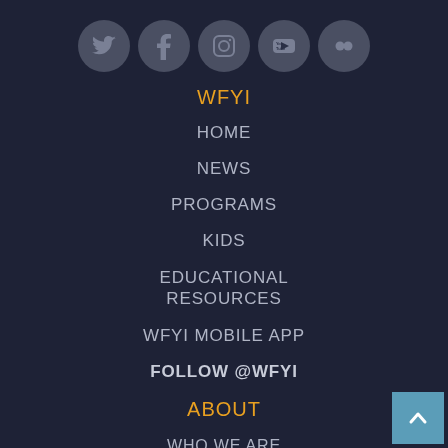[Figure (infographic): Row of 5 social media icon circles: Twitter, Facebook, Instagram, YouTube, Flickr on dark navy background]
WFYI
HOME
NEWS
PROGRAMS
KIDS
EDUCATIONAL RESOURCES
WFYI MOBILE APP
FOLLOW @WFYI
ABOUT
WHO WE ARE